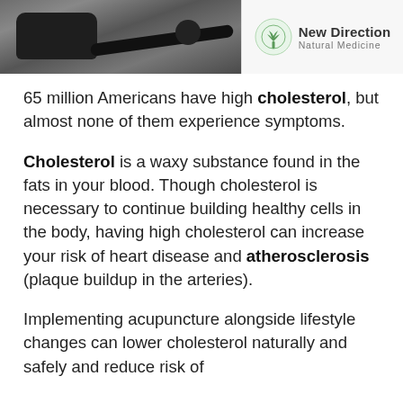[Figure (photo): Header image showing a blood pressure cuff on a wooden surface on the left, and the New Direction Natural Medicine logo on the right with a tree icon]
65 million Americans have high cholesterol, but almost none of them experience symptoms.
Cholesterol is a waxy substance found in the fats in your blood. Though cholesterol is necessary to continue building healthy cells in the body, having high cholesterol can increase your risk of heart disease and atherosclerosis (plaque buildup in the arteries).
Implementing acupuncture alongside lifestyle changes can lower cholesterol naturally and safely and reduce risk of